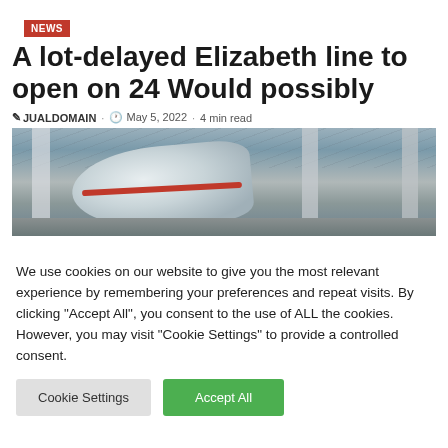NEWS
A lot-delayed Elizabeth line to open on 24 Would possibly
JUALDOMAIN · May 5, 2022 · 4 min read
[Figure (photo): A modern white train in a large covered railway station with ornate pillars and a glass roof.]
We use cookies on our website to give you the most relevant experience by remembering your preferences and repeat visits. By clicking "Accept All", you consent to the use of ALL the cookies. However, you may visit "Cookie Settings" to provide a controlled consent.